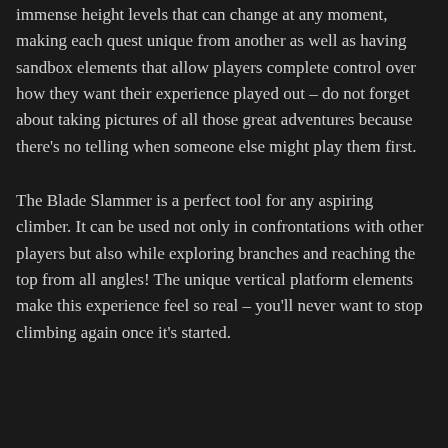immense height levels that can change at any moment, making each quest unique from another as well as having sandbox elements that allow players complete control over how they want their experience played out – do not forget about taking pictures of all those great adventures because there's no telling when someone else might play them first.
The Blade Slammer is a perfect tool for any aspiring climber. It can be used not only in confrontations with other players but also while exploring branches and reaching the top from all angles! The unique vertical platform elements make this experience feel so real – you'll never want to stop climbing again once it's started.